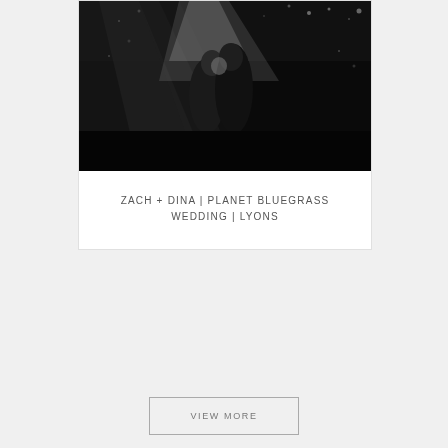[Figure (photo): Black and white photo of a couple dancing closely together in a dark venue with lights and bokeh visible in the background]
ZACH + DINA | PLANET BLUEGRASS WEDDING | LYONS
VIEW MORE